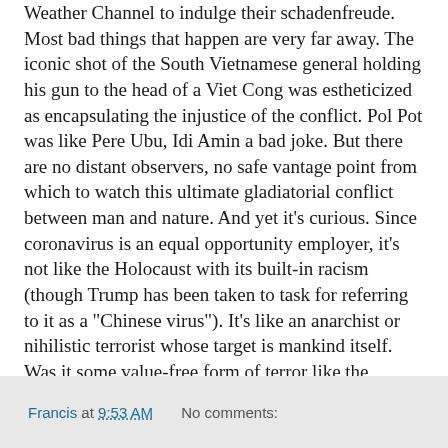Weather Channel to indulge their schadenfreude. Most bad things that happen are very far away. The iconic shot of the South Vietnamese general holding his gun to the head of a Viet Cong was estheticized as encapsulating the injustice of the conflict. Pol Pot was like Pere Ubu, Idi Amin a bad joke. But there are no distant observers, no safe vantage point from which to watch this ultimate gladiatorial conflict between man and nature. And yet it’s curious. Since coronavirus is an equal opportunity employer, it’s not like the Holocaust with its built-in racism (though Trump has been taken to task for referring to it as a “Chinese virus”). It’s like an anarchist or nihilistic terrorist whose target is mankind itself. Was it some value-free form of terror like the current pandemic that Mr. Kurtz foresaw when he said "The horror! the horror!"
Francis at 9:53 AM   No comments: